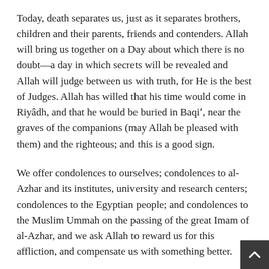Today, death separates us, just as it separates brothers, children and their parents, friends and contenders. Allah will bring us together on a Day about which there is no doubt—a day in which secrets will be revealed and Allah will judge between us with truth, for He is the best of Judges. Allah has willed that his time would come in Riyadh, and that he would be buried in Baqi', near the graves of the companions (may Allah be pleased with them) and the righteous; and this is a good sign.
We offer condolences to ourselves; condolences to al-Azhar and its institutes, university and research centers; condolences to the Egyptian people; and condolences to the Muslim Ummah on the passing of the great Imam of al-Azhar, and we ask Allah to reward us for this affliction, and compensate us with something better.
We also hope that Egypt will take this opportunity to comply with the requests of scholars, thinkers and reformers of Egypt and the Islamic world in appointing the new Imam by election, or at least by a nomination